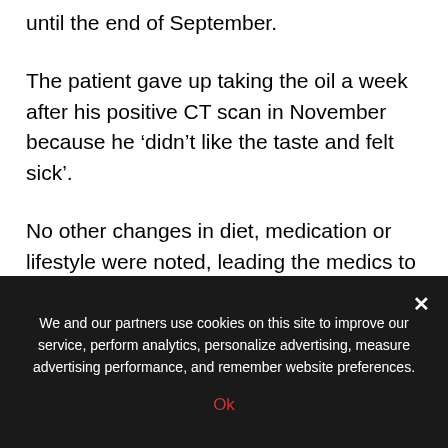until the end of September.
The patient gave up taking the oil a week after his positive CT scan in November because he ‘didn’t like the taste and felt sick’.
No other changes in diet, medication or lifestyle were noted, leading the medics to believe CBD oil was the key driver in the shrinking tumour.
Dr Sulé-Suso and colleagues did not reveal the man’s
We and our partners use cookies on this site to improve our service, perform analytics, personalize advertising, measure advertising performance, and remember website preferences.
Ok